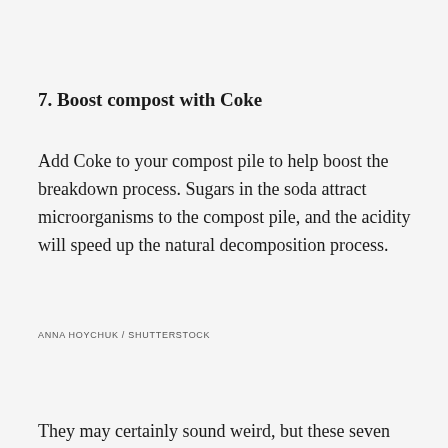7. Boost compost with Coke
Add Coke to your compost pile to help boost the breakdown process. Sugars in the soda attract microorganisms to the compost pile, and the acidity will speed up the natural decomposition process.
ANNA HOYCHUK / SHUTTERSTOCK
They may certainly sound weird, but these seven garden